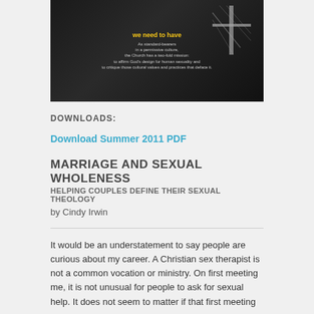[Figure (photo): Dark background image with cross/light beam graphic and text about the Church's two-fold mission regarding human sexuality]
DOWNLOADS:
Download Summer 2011 PDF
MARRIAGE AND SEXUAL WHOLENESS
HELPING COUPLES DEFINE THEIR SEXUAL THEOLOGY
by Cindy Irwin
It would be an understatement to say people are curious about my career. A Christian sex therapist is not a common vocation or ministry. On first meeting me, it is not unusual for people to ask for sexual help. It does not seem to matter if that first meeting